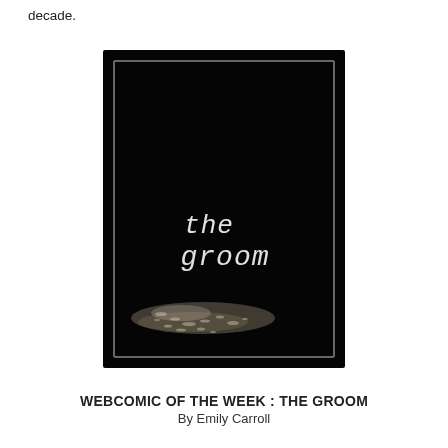decade.
[Figure (illustration): Book cover of 'the groom' — black background with a thin silver inner border rectangle, handwritten-style white text reading 'the groom' in the center, and a scattered light/gravel texture at the bottom.]
WEBCOMIC OF THE WEEK : THE GROOM
By Emily Carroll